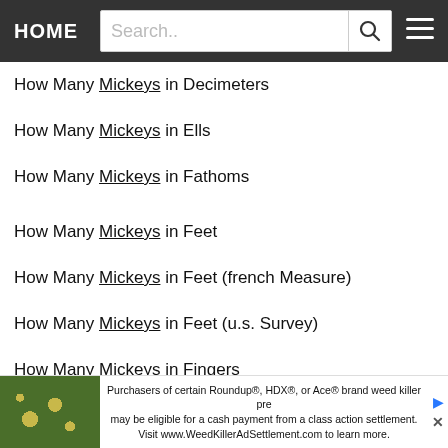HOME Search..
How Many Mickeys in Decimeters
How Many Mickeys in Ells
How Many Mickeys in Fathoms
How Many Mickeys in Feet
How Many Mickeys in Feet (french Measure)
How Many Mickeys in Feet (u.s. Survey)
How Many Mickeys in Fingers
How Many Mickeys in Fingers (cloth)
How Many Mickeys in French
Purchasers of certain Roundup®, HDX®, or Ace® brand weed killer pre may be eligible for a cash payment from a class action settlement. Visit www.WeedKillerAdSettlement.com to learn more.